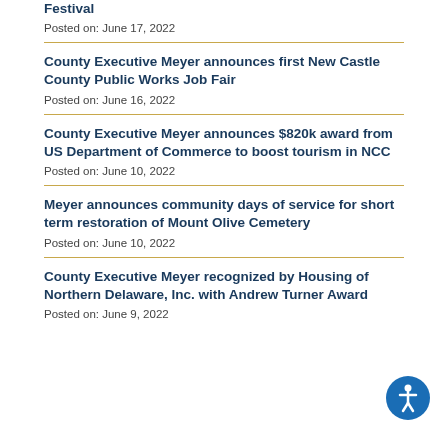Festival
Posted on: June 17, 2022
County Executive Meyer announces first New Castle County Public Works Job Fair
Posted on: June 16, 2022
County Executive Meyer announces $820k award from US Department of Commerce to boost tourism in NCC
Posted on: June 10, 2022
Meyer announces community days of service for short term restoration of Mount Olive Cemetery
Posted on: June 10, 2022
County Executive Meyer recognized by Housing of Northern Delaware, Inc. with Andrew Turner Award
Posted on: June 9, 2022